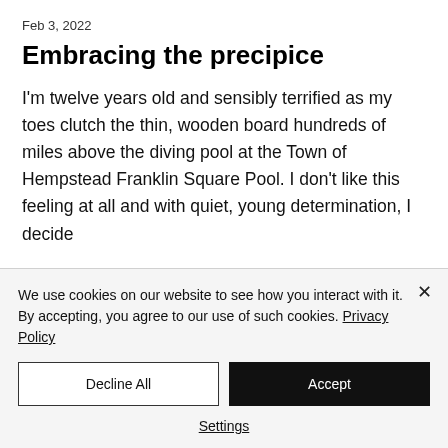Feb 3, 2022
Embracing the precipice
I'm twelve years old and sensibly terrified as my toes clutch the thin, wooden board hundreds of miles above the diving pool at the Town of Hempstead Franklin Square Pool. I don't like this feeling at all and with quiet, young determination, I decide
We use cookies on our website to see how you interact with it. By accepting, you agree to our use of such cookies. Privacy Policy
Decline All
Accept
Settings